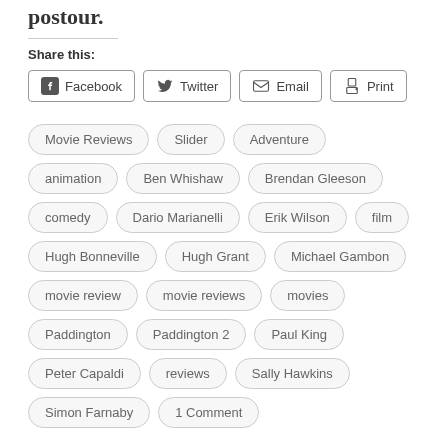postour.
Share this:
Facebook
Twitter
Email
Print
Movie Reviews
Slider
Adventure
animation
Ben Whishaw
Brendan Gleeson
comedy
Dario Marianelli
Erik Wilson
film
Hugh Bonneville
Hugh Grant
Michael Gambon
movie review
movie reviews
movies
Paddington
Paddington 2
Paul King
Peter Capaldi
reviews
Sally Hawkins
Simon Farnaby
1 Comment